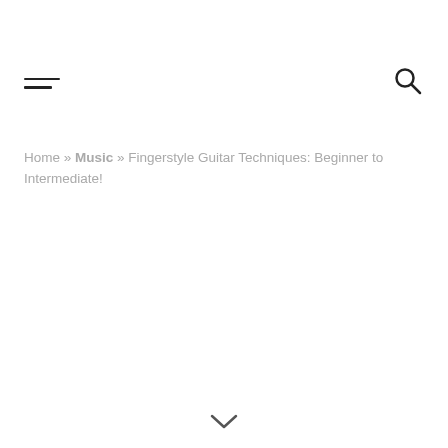☰ [hamburger menu] [search icon]
Home » Music » Fingerstyle Guitar Techniques: Beginner to Intermediate!